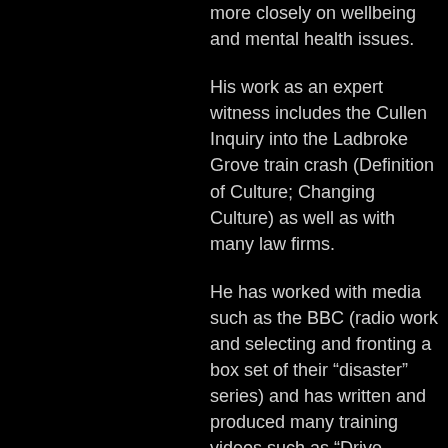more closely on wellbeing and mental health issues.
His work as an expert witness includes the Cullen Inquiry into the Ladbroke Grove train crash (Definition of Culture; Changing Culture) as well as with many law firms.
He has worked with media such as the BBC (radio work and selecting and fronting a box set of their “disaster” series) and has written and produced many training videos such as “Drive Smarter” and the extensive